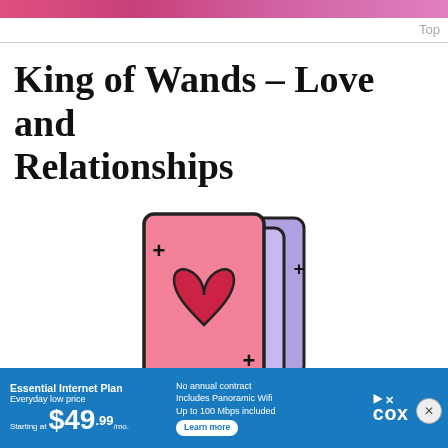Top
King of Wands – Love and Relationships
[Figure (illustration): Illustration of playing cards with a pink/salmon front card showing a red heart and sparkle plus signs, with purple/lavender cards stacked behind it]
Essential Internet Plan Everyday low price Starting at $49.99/mo. No annual contract Includes Panoramic Wifi Up to 100 Mbps included Learn more cox